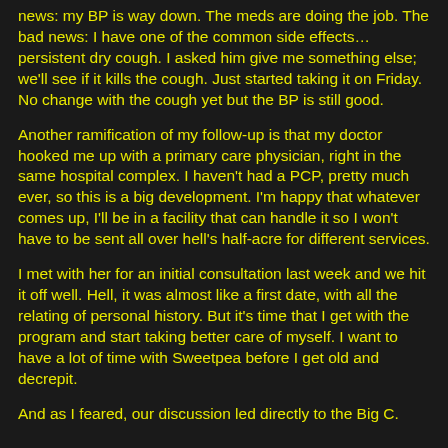news: my BP is way down.  The meds are doing the job. The bad news: I have one of the common side effects… persistent dry cough.  I asked him give me something else; we'll see if it kills the cough. Just started taking it on Friday. No change with the cough yet but the BP is still good.
Another ramification of my follow-up is that my doctor hooked me up with a primary care physician, right in the same hospital complex.  I haven't had a PCP, pretty much ever, so this is a big development.  I'm happy that whatever comes up, I'll be in a facility that can handle it so I won't have to be sent all over hell's half-acre for different services.
I met with her for an initial consultation last week and we hit it off well.  Hell, it was almost like a first date, with all the relating of personal history.  But it's time that I get with the program and start taking better care of myself.  I want to have a lot of time with Sweetpea before I get old and decrepit.
And as I feared, our discussion led directly to the Big C.